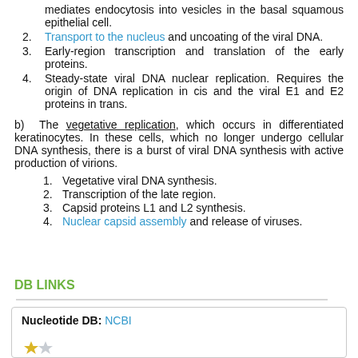mediates endocytosis into vesicles in the basal squamous epithelial cell.
Transport to the nucleus and uncoating of the viral DNA.
Early-region transcription and translation of the early proteins.
Steady-state viral DNA nuclear replication. Requires the origin of DNA replication in cis and the viral E1 and E2 proteins in trans.
b) The vegetative replication, which occurs in differentiated keratinocytes. In these cells, which no longer undergo cellular DNA synthesis, there is a burst of viral DNA synthesis with active production of virions.
Vegetative viral DNA synthesis.
Transcription of the late region.
Capsid proteins L1 and L2 synthesis.
Nuclear capsid assembly and release of viruses.
DB LINKS
Nucleotide DB: NCBI